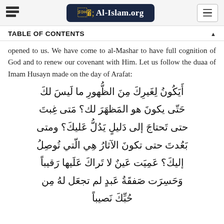Al-Islam.org
TABLE OF CONTENTS
opened to us. We have come to al-Mashar to have full cognition of God and to renew our covenant with Him. Let us follow the duaa of Imam Husayn made on the day of Arafat:
أَيَكُونُ لِغَيرِكَ مِنَ الظُّهورِ ما لَيسَ لكَ حَتّى يكونَ هو المَظهَرَ لك؟ مَتى غِبتَ حتى تَحتاجَ إلى دَليلٍ يَدُلُّ عَليكَ؟ ومتى بَعُدتَ حتى تكونَ الآثارُ هِي الّتي تُوصِلُ إليكَ؟ عَمِيَت عَينٌ لا تَراكَ عَلَيها رَقيباً وَحَسِرَت صَفقَةُ عَبدٍ لم تجعَل لهُ مِن حُبِّكَ نَصيباً